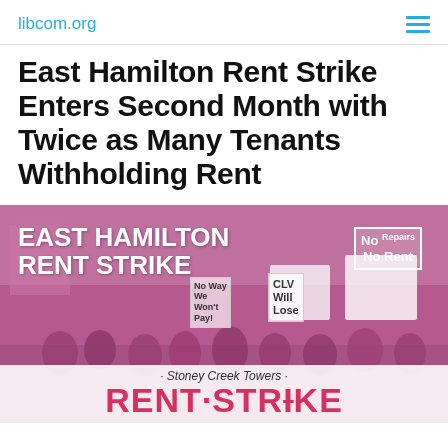libcom.org
East Hamilton Rent Strike Enters Second Month with Twice as Many Tenants Withholding Rent
[Figure (photo): Protest photo showing a group of tenants holding signs reading 'East Hamilton Rent Strike', 'No Repairs No Rent', 'CLV Will Lose', 'No Way We Won't Pay', and a large pink banner reading 'Stoney Creek Towers RENT STRIKE'. The image has a pink/magenta color overlay.]